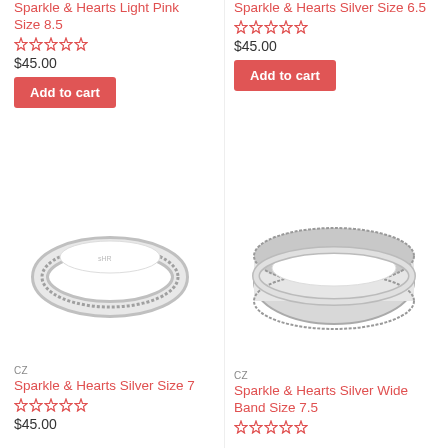Sparkle & Hearts Light Pink Size 8.5
$45.00
Add to cart
Sparkle & Hearts Silver Size 6.5
$45.00
Add to cart
[Figure (photo): Slim silver ring with CZ stones along the band, viewed from an angle showing the inside]
CZ
Sparkle & Hearts Silver Size 7
$45.00
[Figure (photo): Wide silver band ring with CZ stones along top and bottom edges and white enamel center]
CZ
Sparkle & Hearts Silver Wide Band Size 7.5